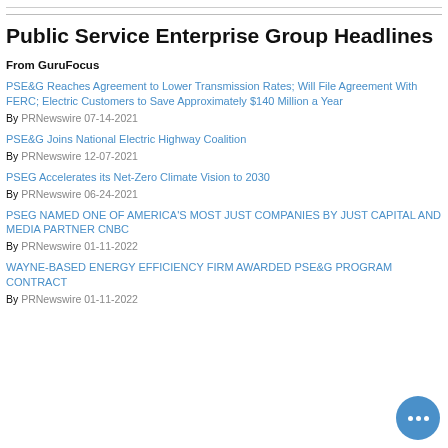Public Service Enterprise Group Headlines
From GuruFocus
PSE&G Reaches Agreement to Lower Transmission Rates; Will File Agreement With FERC; Electric Customers to Save Approximately $140 Million a Year
By PRNewswire 07-14-2021
PSE&G Joins National Electric Highway Coalition
By PRNewswire 12-07-2021
PSEG Accelerates its Net-Zero Climate Vision to 2030
By PRNewswire 06-24-2021
PSEG NAMED ONE OF AMERICA'S MOST JUST COMPANIES BY JUST CAPITAL AND MEDIA PARTNER CNBC
By PRNewswire 01-11-2022
WAYNE-BASED ENERGY EFFICIENCY FIRM AWARDED PSE&G PROGRAM CONTRACT
By PRNewswire 01-11-2022